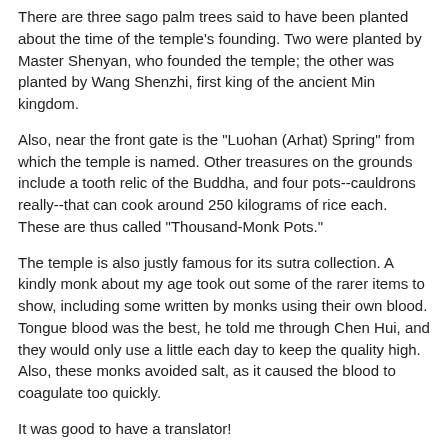There are three sago palm trees said to have been planted about the time of the temple's founding. Two were planted by Master Shenyan, who founded the temple; the other was planted by Wang Shenzhi, first king of the ancient Min kingdom.
Also, near the front gate is the "Luohan (Arhat) Spring" from which the temple is named. Other treasures on the grounds include a tooth relic of the Buddha, and four pots--cauldrons really--that can cook around 250 kilograms of rice each. These are thus called "Thousand-Monk Pots."
The temple is also justly famous for its sutra collection. A kindly monk about my age took out some of the rarer items to show, including some written by monks using their own blood. Tongue blood was the best, he told me through Chen Hui, and they would only use a little each day to keep the quality high. Also, these monks avoided salt, as it caused the blood to coagulate too quickly.
It was good to have a translator!